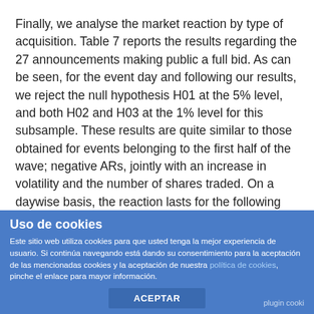Finally, we analyse the market reaction by type of acquisition. Table 7 reports the results regarding the 27 announcements making public a full bid. As can be seen, for the event day and following our results, we reject the null hypothesis H01 at the 5% level, and both H02 and H03 at the 1% level for this subsample. These results are quite similar to those obtained for events belonging to the first half of the wave; negative ARs, jointly with an increase in volatility and the number of shares traded. On a daywise basis, the reaction lasts for the following two days in returns and returns volatility, and for the entire window period for the shares traded. The multi-day CAARs [-1, 0], [0, 1], and [-5, 5] are also negative and
Uso de cookies
Este sitio web utiliza cookies para que usted tenga la mejor experiencia de usuario. Si continúa navegando está dando su consentimiento para la aceptación de las mencionadas cookies y la aceptación de nuestra política de cookies, pinche el enlace para mayor información.
ACEPTAR
plugin cooki